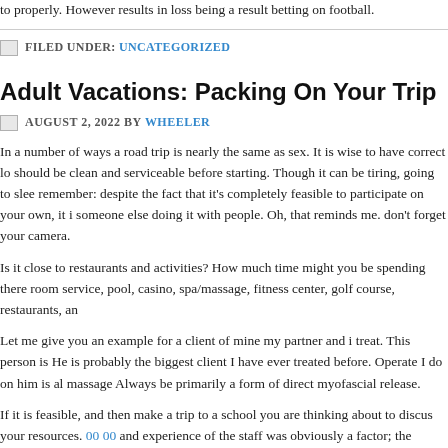to properly. However results in loss being a result betting on football.
FILED UNDER: UNCATEGORIZED
Adult Vacations: Packing On Your Trip
AUGUST 2, 2022 BY WHEELER
In a number of ways a road trip is nearly the same as sex. It is wise to have correct lo should be clean and serviceable before starting. Though it can be tiring, going to slee remember: despite the fact that it's completely feasible to participate on your own, it i someone else doing it with people. Oh, that reminds me. don't forget your camera.
Is it close to restaurants and activities? How much time might you be spending there room service, pool, casino, spa/massage, fitness center, golf course, restaurants, an
Let me give you an example for a client of mine my partner and i treat. This person is He is probably the biggest client I have ever treated before. Operate I do on him is al massage Always be primarily a form of direct myofascial release.
If it is feasible, and then make a trip to a school you are thinking about to discus your resources. 00 00 and experience of the staff was obviously a factor; the instructors nee discuss any of the concerns. Imagining . try to talk to past alumni for their thoughts.